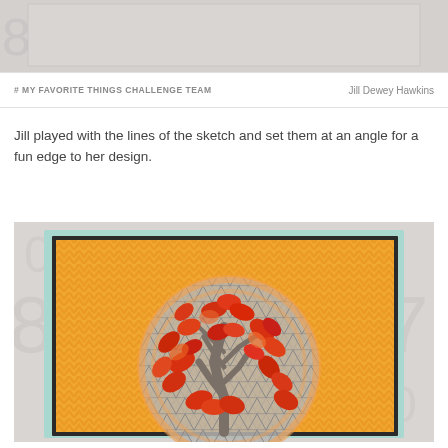[Figure (photo): Top portion of a crafting card image, showing gray background with faint watermark numbers visible on the sides]
# MY FAVORITE THINGS CHALLENGE TEAM   Jill Dewey Hawkins
Jill played with the lines of the sketch and set them at an angle for a fun edge to her design.
[Figure (photo): Handmade greeting card featuring an autumn tree with red/orange leaf cutouts on a background of orange chevron patterned paper, with a gray geometric circle accent, framed in mint/teal and black borders, photographed against a gray background with faint watermark numbers]